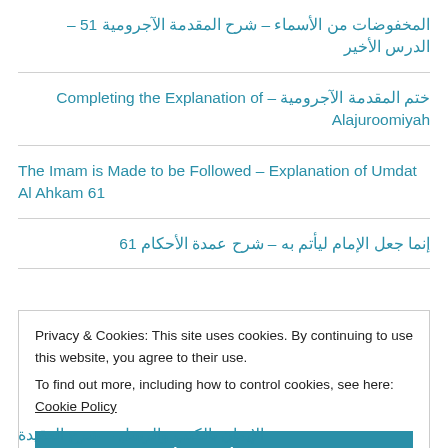المخفوضات من الأسماء – شرح المقدمة الآجرومية 51 – الدرس الأخير
ختم المقدمة الآجرومية – Completing the Explanation of Alajuroomiyah
The Imam is Made to be Followed – Explanation of Umdat Al Ahkam 61
إنما جعل الإمام ليأتم به – شرح عمدة الأحكام 61
Privacy & Cookies: This site uses cookies. By continuing to use this website, you agree to their use.
To find out more, including how to control cookies, see here: Cookie Policy
Close and accept
الإيمان بالكتب والرسل – شرح العقيدة